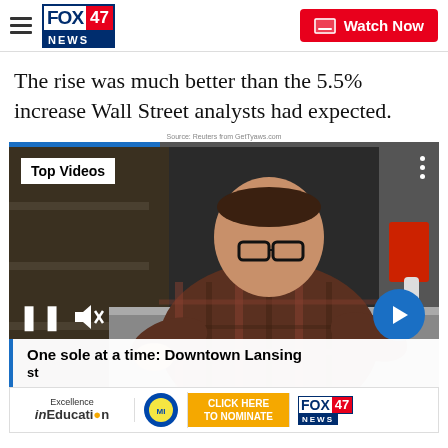FOX 47 NEWS | Watch Now
The rise was much better than the 5.5% increase Wall Street analysts had expected.
Source: Reuters from GetTyaws.com
[Figure (screenshot): Video player showing a man in a plaid shirt working at a counter. Top Videos badge in upper left, three-dot menu upper right, pause and mute controls bottom left, blue arrow next button bottom right. Lower caption bar reads: One sole at a time: Downtown Lansing...]
[Figure (screenshot): Ad banner with Excellence in Education logo, Michigan Lottery logo, Click Here to Nominate button, and Fox 47 News logo]